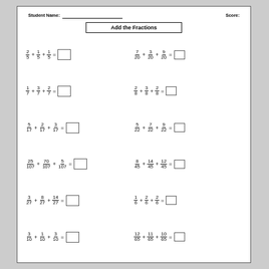Student Name: _____________________ Score:
Add the Fractions